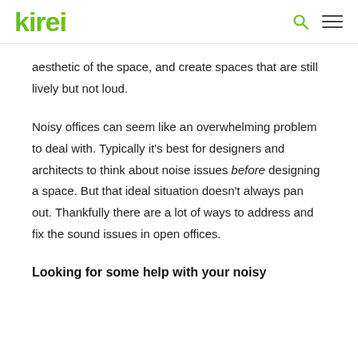kirei
aesthetic of the space, and create spaces that are still lively but not loud.
Noisy offices can seem like an overwhelming problem to deal with. Typically it's best for designers and architects to think about noise issues before designing a space. But that ideal situation doesn't always pan out. Thankfully there are a lot of ways to address and fix the sound issues in open offices.
Looking for some help with your noisy